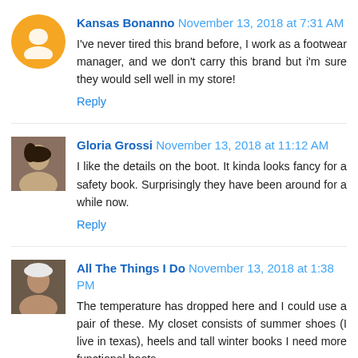Kansas Bonanno November 13, 2018 at 7:31 AM
I've never tired this brand before, I work as a footwear manager, and we don't carry this brand but i'm sure they would sell well in my store!
Reply
Gloria Grossi November 13, 2018 at 11:12 AM
I like the details on the boot. It kinda looks fancy for a safety book. Surprisingly they have been around for a while now.
Reply
All The Things I Do November 13, 2018 at 1:38 PM
The temperature has dropped here and I could use a pair of these. My closet consists of summer shoes (I live in texas), heels and tall winter books I need more functional boots.